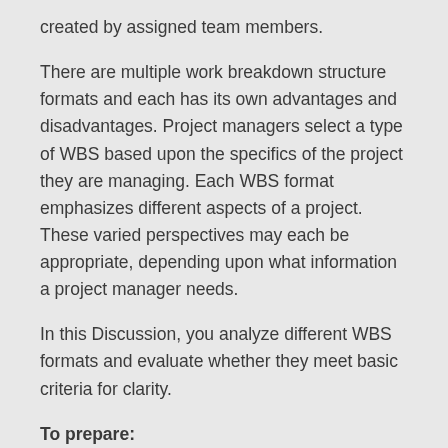created by assigned team members.
There are multiple work breakdown structure formats and each has its own advantages and disadvantages. Project managers select a type of WBS based upon the specifics of the project they are managing. Each WBS format emphasizes different aspects of a project. These varied perspectives may each be appropriate, depending upon what information a project manager needs.
In this Discussion, you analyze different WBS formats and evaluate whether they meet basic criteria for clarity.
To prepare:
Explore the Work Breakdown Structure